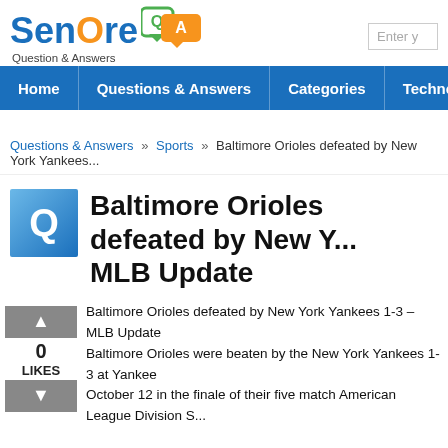SenOre Question & Answers
Home  Questions & Answers  Categories  Technology
Questions & Answers » Sports » Baltimore Orioles defeated by New York Yankees
Baltimore Orioles defeated by New York Yankees — MLB Update
0 LIKES
Baltimore Orioles defeated by New York Yankees 1-3 – MLB Update
Baltimore Orioles were beaten by the New York Yankees 1-3 at Yankee
October 12 in the finale of their five match American League Division S...